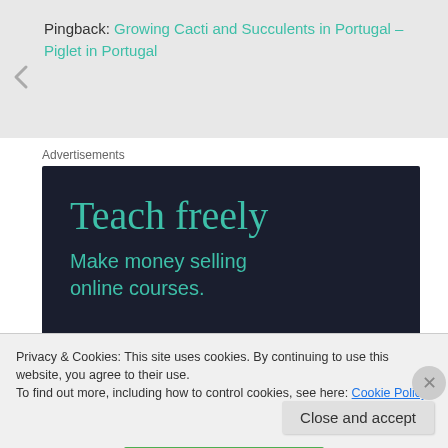Pingback: Growing Cacti and Succulents in Portugal – Piglet in Portugal
Advertisements
[Figure (illustration): Dark navy advertisement banner for Sensei by WordPress.com. Large teal serif text reads 'Teach freely'. Below in teal sans-serif: 'Make money selling online courses.' Footer shows Sensei logo (tree icon in white circle) and 'Powered by WordPress.com' branding.]
Privacy & Cookies: This site uses cookies. By continuing to use this website, you agree to their use.
To find out more, including how to control cookies, see here: Cookie Policy
Close and accept